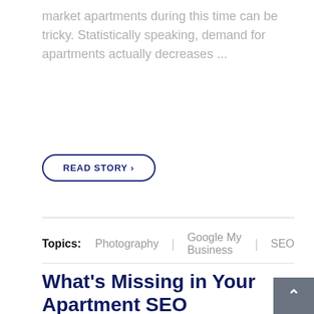market apartments during this time can be tricky. Statistically speaking, demand for apartments actually decreases ...
READ STORY ›
Topics: Photography | Google My Business | SEO
What's Missing in Your Apartment SEO Strategy?
by McKenna Hogan, on Aug 19, 2019 9:00:00